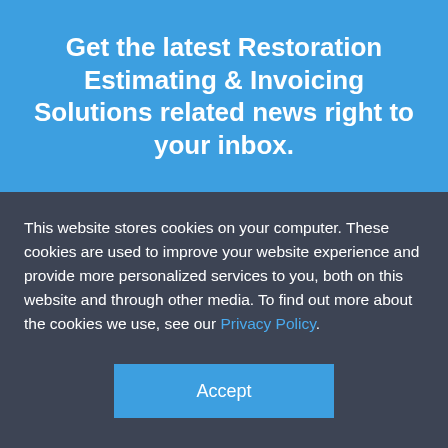Get the latest Restoration Estimating & Invoicing Solutions related news right to your inbox.
This website stores cookies on your computer. These cookies are used to improve your website experience and provide more personalized services to you, both on this website and through other media. To find out more about the cookies we use, see our Privacy Policy.
Accept